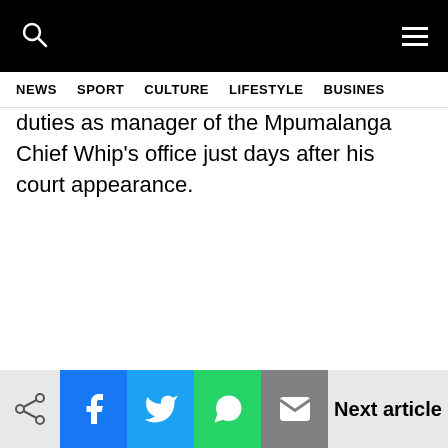NEWS  SPORT  CULTURE  LIFESTYLE  BUSINES
duties as manager of the Mpumalanga Chief Whip's office just days after his court appearance.
Next article